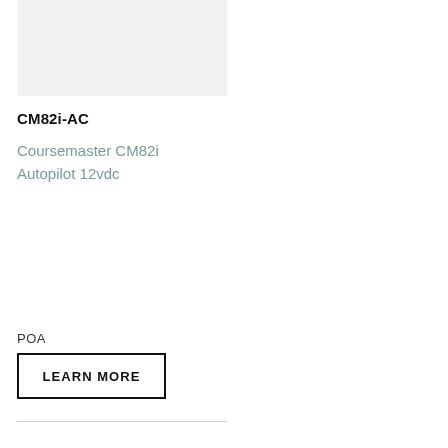[Figure (photo): Product image placeholder for CM82i-AC Coursemaster Autopilot, light grey background]
CM82i-AC
Coursemaster CM82i Autopilot 12vdc
POA
LEARN MORE